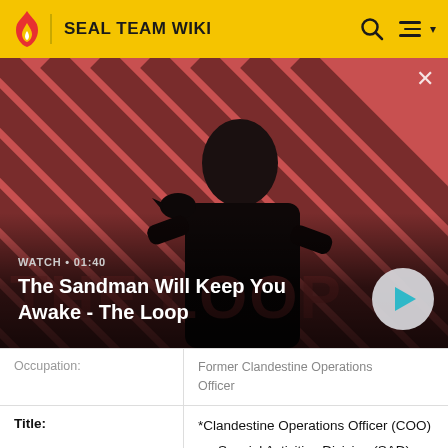SEAL TEAM WIKI
[Figure (screenshot): Video thumbnail showing a dark figure with a crow on shoulder against a red diagonal striped background. Overlay shows WATCH • 01:40 and title 'The Sandman Will Keep You Awake - The Loop' with a play button.]
| Field | Value |
| --- | --- |
| Occupation: | Former Clandestine Operations Officer |
| Title: | *Clandestine Operations Officer (COO)
• Special Activities Division (SAD)
• Central Intelligence Agency |